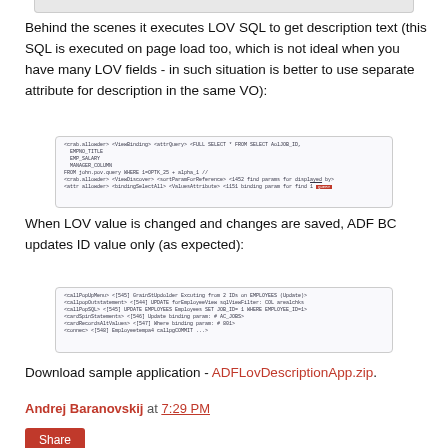[Figure (screenshot): Top portion of a screenshot (cropped at top edge)]
Behind the scenes it executes LOV SQL to get description text (this SQL is executed on page load too, which is not ideal when you have many LOV fields - in such situation is better to use separate attribute for description in the same VO):
[Figure (screenshot): Code screenshot showing LOV SQL configuration with attributes including EMPNO, TITLE, EMP_SALARY, MANAGER_COLUMN and related SQL query settings]
When LOV value is changed and changes are saved, ADF BC updates ID value only (as expected):
[Figure (screenshot): Code screenshot showing ADF BC update statements for employee ID value changes]
Download sample application - ADFLovDescriptionApp.zip.
Andrej Baranovskij at 7:29 PM
Share